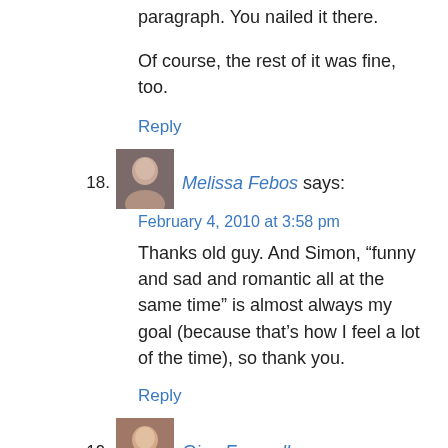paragraph. You nailed it there.
Of course, the rest of it was fine, too.
Reply
18. Melissa Febos says:
February 4, 2010 at 3:58 pm
Thanks old guy. And Simon, “funny and sad and romantic all at the same time” is almost always my goal (because that’s how I feel a lot of the time), so thank you.
Reply
19. Gina Frangello says:
February 5, 2010 at 9:27 pm
Melissa, I loved your trailer when Stephen posted it on The Rumpus and was already excited to read your book, so it’s a pleasure to find you here on TNB. Welcome to the family. We’ll all gladly shove our body bags over a few feet under the collective bed to make room for yours.